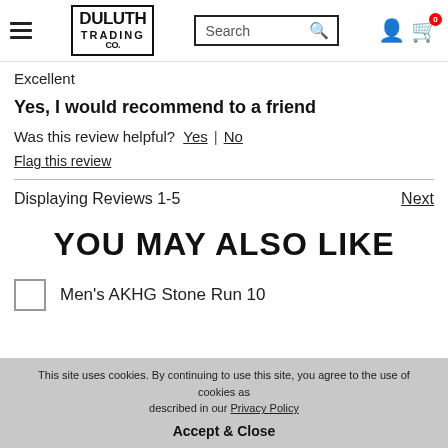Duluth Trading Co — navigation with search and cart
Excellent
Yes, I would recommend to a friend
Was this review helpful? Yes | No
Flag this review
Displaying Reviews 1-5   Next
YOU MAY ALSO LIKE
Men's AKHG Stone Run 10
This site uses cookies. By continuing to use this site, you agree to the use of cookies as described in our Privacy Policy  Accept & Close